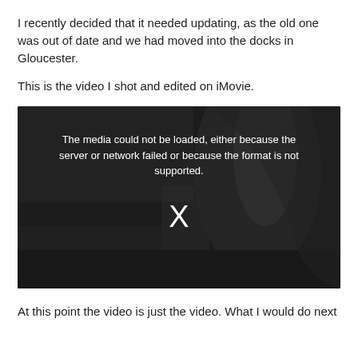I recently decided that it needed updating, as the old one was out of date and we had moved into the docks in Gloucester.
This is the video I shot and edited on iMovie.
[Figure (screenshot): A video player showing an error message: 'The media could not be loaded, either because the server or network failed or because the format is not supported.' with an X symbol in the center, over a dark background image.]
At this point the video is just the video. What I would do next